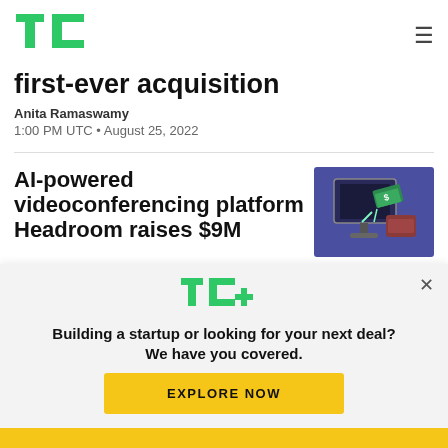TC logo + navigation
first-ever acquisition
Anita Ramaswamy
1:00 PM UTC • August 25, 2022
AI-powered videoconferencing platform Headroom raises $9M
[Figure (illustration): Illustration of a computer monitor with dollar bills and a wallet, purple/blue background, tech theme]
TC+
Building a startup or looking for your next deal? We have you covered.
EXPLORE NOW